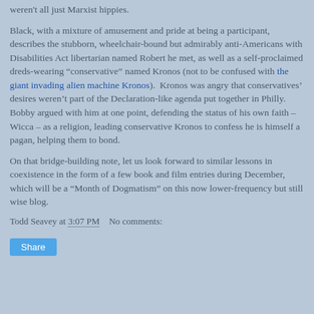weren't all just Marxist hippies.
Black, with a mixture of amusement and pride at being a participant, describes the stubborn, wheelchair-bound but admirably anti-Americans with Disabilities Act libertarian named Robert he met, as well as a self-proclaimed dreds-wearing “conservative” named Kronos (not to be confused with the giant invading alien machine Kronos).  Kronos was angry that conservatives’ desires weren’t part of the Declaration-like agenda put together in Philly.  Bobby argued with him at one point, defending the status of his own faith – Wicca – as a religion, leading conservative Kronos to confess he is himself a pagan, helping them to bond.
On that bridge-building note, let us look forward to similar lessons in coexistence in the form of a few book and film entries during December, which will be a “Month of Dogmatism” on this now lower-frequency but still wise blog.
Todd Seavey at 3:07 PM   No comments: